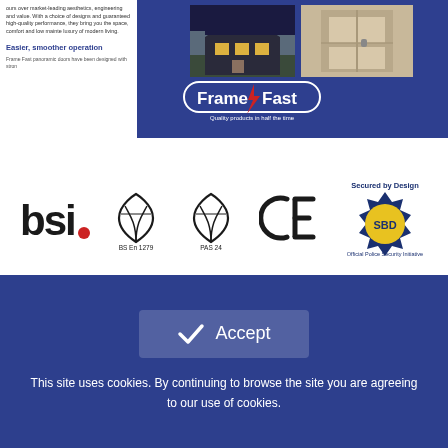[Figure (screenshot): Top blue banner showing Frame Fast website header with text about aesthetics/engineering/value, a blue heading 'Easier, smoother operation', photos of doors/windows, and the Frame Fast logo with tagline 'Quality products in half the time']
[Figure (logo): Row of certification logos: BSI, BS EN 1279 (heart-kite symbol), PAS 24 (heart-kite symbol), CE mark, and Secured by Design (SBD) Official Police Security Initiative]
Latest News
[Figure (screenshot): Cookie consent overlay with dark blue background, Accept button with checkmark, and text: 'This site uses cookies. By continuing to browse the site you are agreeing to our use of cookies.']